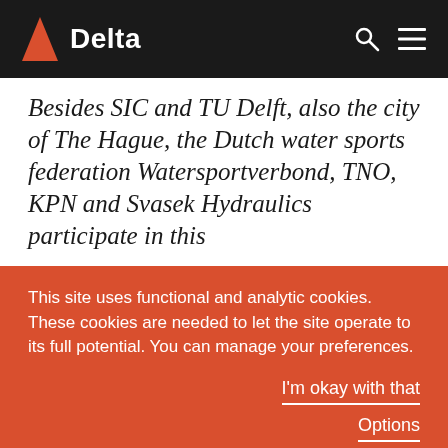Delta
Besides SIC and TU Delft, also the city of The Hague, the Dutch water sports federation Watersportverbond, TNO, KPN and Svasek Hydraulics participate in this
This site uses functional and analytic cookies. These cookies are needed to let the site operate to its full potential. You can manage your preferences.
I'm okay with that
Options